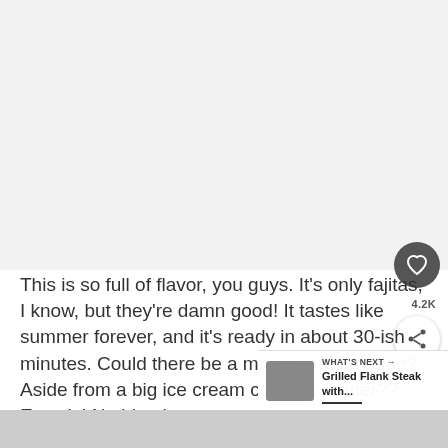[Figure (photo): Large food photo placeholder at top of page, light gray background]
This is so full of flavor, you guys. It's only fajitas, I know, but they're damn good! It tastes like summer forever, and it's ready in about 30-ish minutes. Could there be a more perfect recipe? Aside from a big ice cream cone for dinner?? Exactly! Nothing better.
[Figure (photo): Bottom strip photo of food, partially visible]